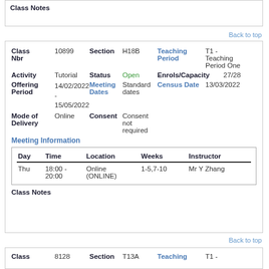Class Notes
Back to top
| Class Nbr | 10899 | Section | H18B | Teaching Period | T1 - Teaching Period One |
| Activity | Tutorial | Status | Open | Enrols/Capacity | 27/28 |
| Offering Period | 14/02/2022 - 15/05/2022 | Meeting Dates | Standard dates | Census Date | 13/03/2022 |
| Mode of Delivery | Online | Consent | Consent not required |  |  |
Meeting Information
| Day | Time | Location | Weeks | Instructor |
| --- | --- | --- | --- | --- |
| Thu | 18:00 - 20:00 | Online (ONLINE) | 1-5,7-10 | Mr Y Zhang |
Class Notes
Back to top
| Class | 8128 | Section | T13A | Teaching | T1 - |